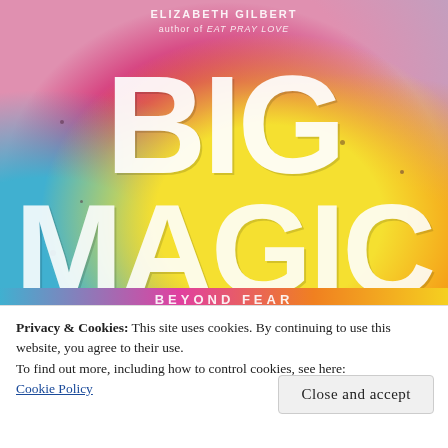[Figure (illustration): Book cover for 'Big Magic' with colorful watercolor/powder splash background in pink, magenta, yellow, orange, and blue. Large bold white text reads 'BIG' on top and 'MAGIC' below. Author name appears at top. Bottom has a colorful gradient strip.]
Privacy & Cookies: This site uses cookies. By continuing to use this website, you agree to their use.
To find out more, including how to control cookies, see here:
Cookie Policy
Close and accept